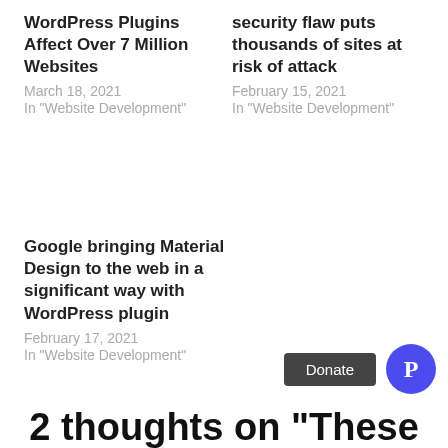WordPress Plugins Affect Over 7 Million Websites
March 18, 2021
In "Website Development"
security flaw puts thousands of sites at risk of attack
February 15, 2021
In "Website Development"
Google bringing Material Design to the web in a significant way with WordPress plugin
February 17, 2021
In "Website Development"
Donate
2 thoughts on “These